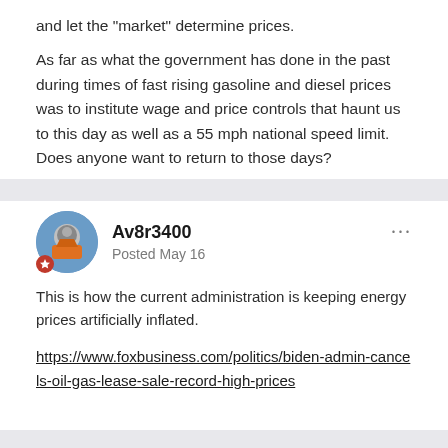and let the "market" determine prices.
As far as what the government has done in the past during times of fast rising gasoline and diesel prices was to institute wage and price controls that haunt us to this day as well as a 55 mph national speed limit. Does anyone want to return to those days?
Av8r3400
Posted May 16
This is how the current administration is keeping energy prices artificially inflated.
https://www.foxbusiness.com/politics/biden-admin-cancels-oil-gas-lease-sale-record-high-prices